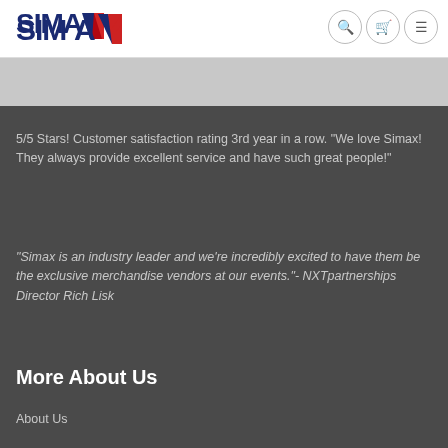SIMAX
5/5 Stars! Customer satisfaction rating 3rd year in a row. "We love Simax! They always provide excellent service and have such great people!"
“Simax is an industry leader and we’re incredibly excited to have them be the exclusive merchandise vendors at our events.”- NXTpartnerships Director Rich Lisk
More About Us
About Us